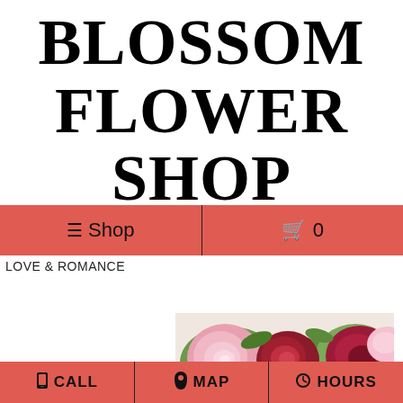BLOSSOM FLOWER SHOP
☰ Shop    🛒 0
LOVE & ROMANCE
[Figure (photo): Close-up photo of pink and red flowers including roses and other blooms with green leaves]
📱 CALL   📍 MAP   🕐 HOURS